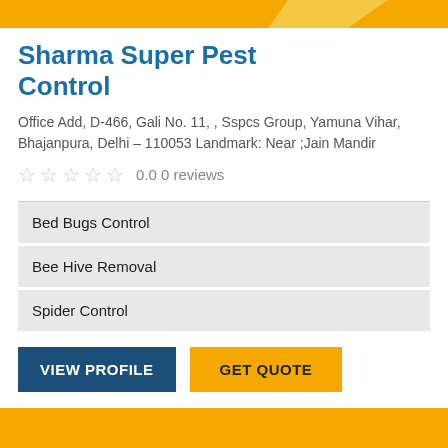Sharma Super Pest Control
Office Add, D-466, Gali No. 11, , Sspcs Group, Yamuna Vihar, Bhajanpura, Delhi – 110053 Landmark: Near ;Jain Mandir
0.0 0 reviews
Bed Bugs Control
Bee Hive Removal
Spider Control
VIEW PROFILE
GET QUOTE